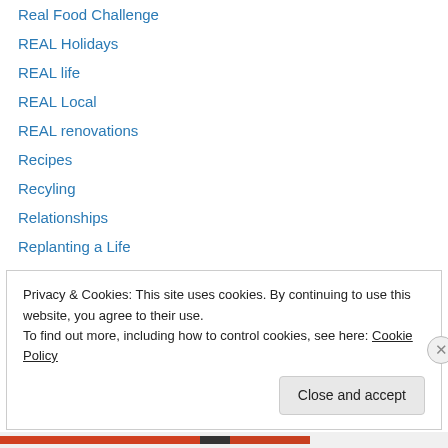Real Food Challenge
REAL Holidays
REAL life
REAL Local
REAL renovations
Recipes
Recyling
Relationships
Replanting a Life
Routines
Seasons
Seed Saving
Sewing
Privacy & Cookies: This site uses cookies. By continuing to use this website, you agree to their use.
To find out more, including how to control cookies, see here: Cookie Policy
Close and accept